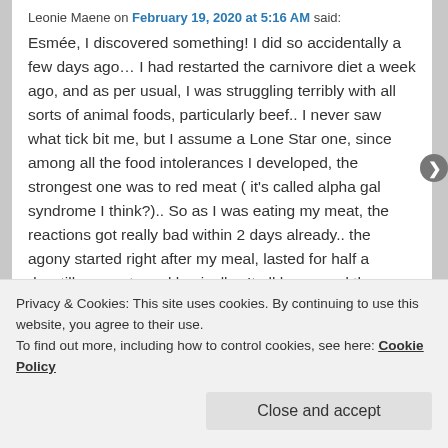Leonie Maene on February 19, 2020 at 5:16 AM said:
Esmée, I discovered something! I did so accidentally a few days ago… I had restarted the carnivore diet a week ago, and as per usual, I was struggling terribly with all sorts of animal foods, particularly beef.. I never saw what tick bit me, but I assume a Lone Star one, since among all the food intolerances I developed, the strongest one was to red meat ( it's called alpha gal syndrome I think?).. So as I was eating my meat, the reactions got really bad within 2 days already.. the agony started right after my meal, lasted for half a day..till my next meal basically.. It all happened the same when a tried a carnivore diet for 4 months a few
Privacy & Cookies: This site uses cookies. By continuing to use this website, you agree to their use.
To find out more, including how to control cookies, see here: Cookie Policy